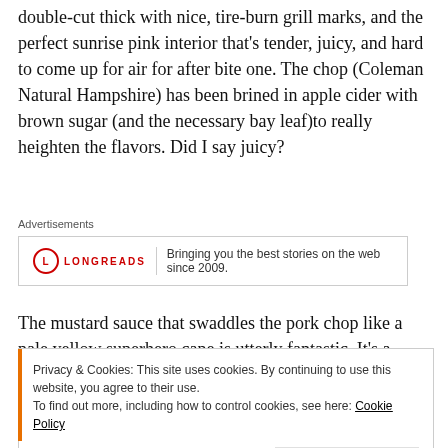double-cut thick with nice, tire-burn grill marks, and the perfect sunrise pink interior that's tender, juicy, and hard to come up for air for after bite one.  The chop (Coleman Natural Hampshire) has been brined in apple cider with brown sugar (and the necessary bay leaf)to really heighten the flavors. Did I say juicy?
Advertisements
[Figure (other): Longreads advertisement box: logo with red circle L, text 'LONGREADS', tagline 'Bringing you the best stories on the web since 2009.']
The mustard sauce that swaddles the pork chop like a pale yellow superhero cape is utterly fantastic. It's a creamy
Privacy & Cookies: This site uses cookies. By continuing to use this website, you agree to their use.
To find out more, including how to control cookies, see here: Cookie Policy
Close and accept
The sides here are also great, making this dish one of my